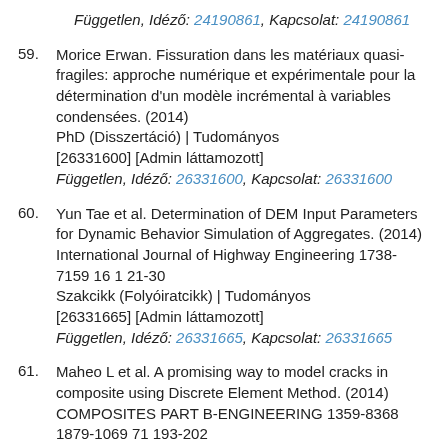Független, Idéző: 24190861, Kapcsolat: 24190861
59. Morice Erwan. Fissuration dans les matériaux quasi-fragiles: approche numérique et expérimentale pour la détermination d'un modèle incrémental à variables condensées. (2014) PhD (Disszertáció) | Tudományos [26331600] [Admin láttamozott] Független, Idéző: 26331600, Kapcsolat: 26331600
60. Yun Tae et al. Determination of DEM Input Parameters for Dynamic Behavior Simulation of Aggregates. (2014) International Journal of Highway Engineering 1738-7159 16 1 21-30 Szakcikk (Folyóiratcikk) | Tudományos [26331665] [Admin láttamozott] Független, Idéző: 26331665, Kapcsolat: 26331665
61. Maheo L et al. A promising way to model cracks in composite using Discrete Element Method. (2014) COMPOSITES PART B-ENGINEERING 1359-8368 1879-1069 71 193-202